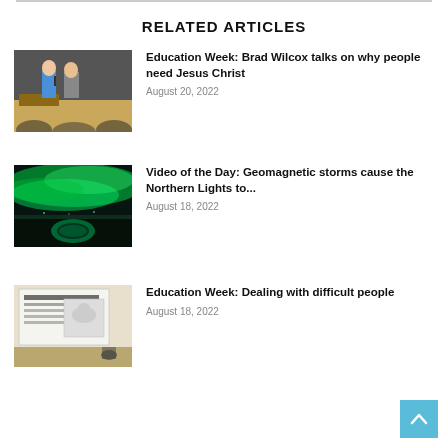RELATED ARTICLES
[Figure (photo): Two people on a stage, one in a blue shirt holding a microphone]
Education Week: Brad Wilcox talks on why people need Jesus Christ
August 20, 2022
[Figure (photo): Northern lights (aurora borealis) over a dark landscape with a circular hole in ice]
Video of the Day: Geomagnetic storms cause the Northern Lights to...
August 18, 2022
[Figure (photo): A presentation slide on a screen in a room with an audience member visible]
Education Week: Dealing with difficult people
August 18, 2022